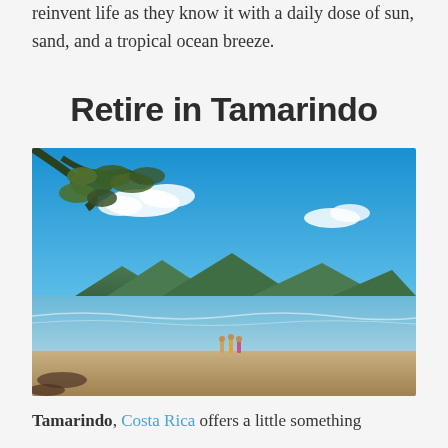reinvent life as they know it with a daily dose of sun, sand, and a tropical ocean breeze.
Retire in Tamarindo
[Figure (photo): Beach scene in Tamarindo, Costa Rica. Bright blue sky with scattered white clouds, green mountains in the background, calm ocean water, sandy beach with a few people walking near the water's edge, tree branches with green leaves visible in the upper left corner.]
Tamarindo, Costa Rica offers a little something